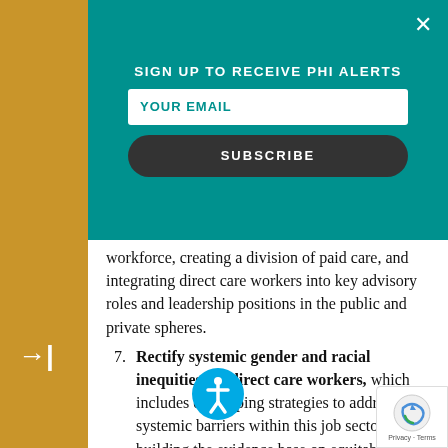SIGN UP TO RECEIVE PHI ALERTS
YOUR EMAIL
SUBSCRIBE
workforce, creating a division of paid care, and integrating direct care workers into key advisory roles and leadership positions in the public and private spheres.
7. Rectify systemic gender and racial inequities for direct care workers, which includes developing strategies to address systemic barriers within this job sector, building the evidence base on equitable direct care workforce interventions, bolstering support for immigrant direct care workers.